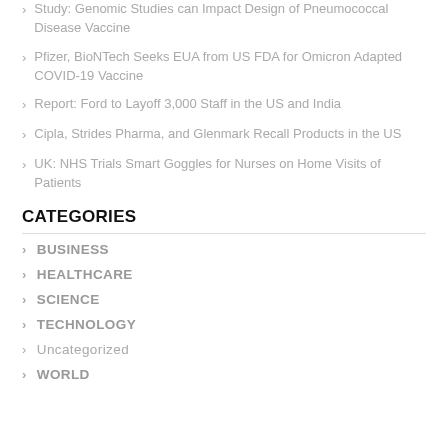Study: Genomic Studies can Impact Design of Pneumococcal Disease Vaccine
Pfizer, BioNTech Seeks EUA from US FDA for Omicron Adapted COVID-19 Vaccine
Report: Ford to Layoff 3,000 Staff in the US and India
Cipla, Strides Pharma, and Glenmark Recall Products in the US
UK: NHS Trials Smart Goggles for Nurses on Home Visits of Patients
CATEGORIES
BUSINESS
HEALTHCARE
SCIENCE
TECHNOLOGY
Uncategorized
WORLD